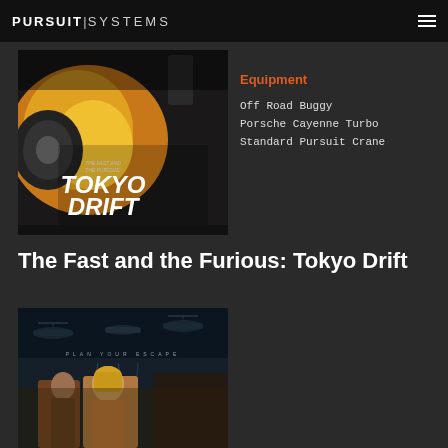PURSUIT|SYSTEMS
[Figure (photo): Movie poster for The Fast and the Furious: Tokyo Drift, featuring a car wheel with flames and the movie title text]
Equipment
Off Road Buggy
Porsche Cayenne Turbo
Standard Pursuit Crane
The Fast and the Furious: Tokyo Drift
[Figure (photo): Movie poster showing two people running, with text PLAN YOUR ESCAPE and dark action movie styling with helicopters in background]